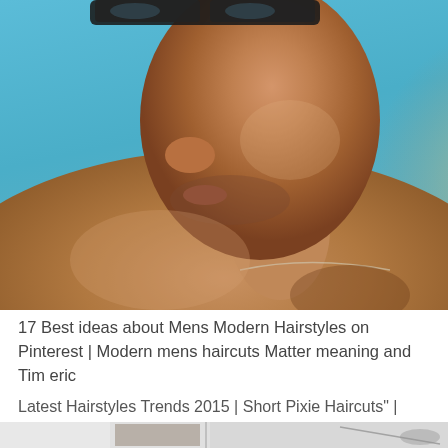[Figure (photo): Close-up photo of a shirtless man with sunglasses on his head, tan skin, wearing a thin chain necklace, photographed from a side-angle profile against a blue sky background]
17 Best ideas about Mens Modern Hairstyles on Pinterest | Modern mens haircuts Matter meaning and Tim eric
Latest Hairstyles Trends 2015 | Short Pixie Haircuts" | Women …
[Figure (photo): Partial view of a hairstyle photo, cropped at the bottom of the page showing a light-colored interior scene]